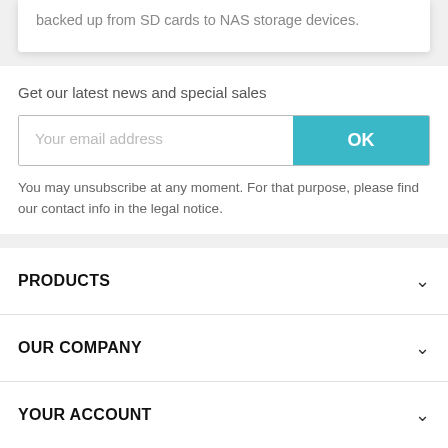backed up from SD cards to NAS storage devices.
Get our latest news and special sales
Your email address
OK
You may unsubscribe at any moment. For that purpose, please find our contact info in the legal notice.
PRODUCTS
OUR COMPANY
YOUR ACCOUNT